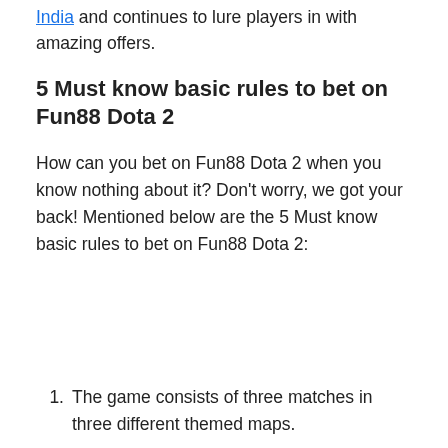India and continues to lure players in with amazing offers.
5 Must know basic rules to bet on Fun88 Dota 2
How can you bet on Fun88 Dota 2 when you know nothing about it? Don’t worry, we got your back! Mentioned below are the 5 Must know basic rules to bet on Fun88 Dota 2:
The game consists of three matches in three different themed maps.